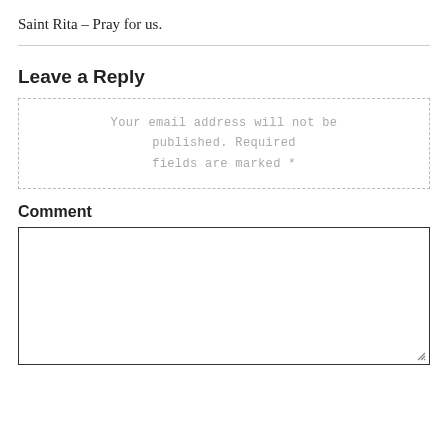Saint Rita – Pray for us.
Your email address will not be published. Required fields are marked *
Leave a Reply
Comment